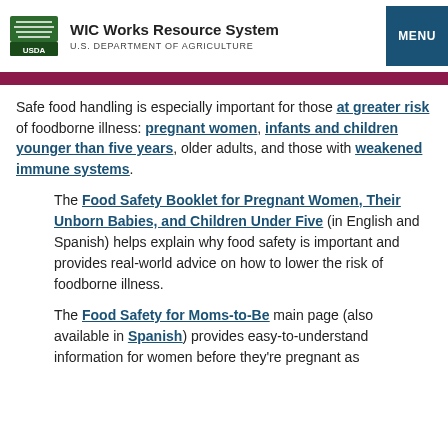WIC Works Resource System | U.S. DEPARTMENT OF AGRICULTURE | MENU
Safe food handling is especially important for those at greater risk of foodborne illness: pregnant women, infants and children younger than five years, older adults, and those with weakened immune systems.
The Food Safety Booklet for Pregnant Women, Their Unborn Babies, and Children Under Five (in English and Spanish) helps explain why food safety is important and provides real-world advice on how to lower the risk of foodborne illness.
The Food Safety for Moms-to-Be main page (also available in Spanish) provides easy-to-understand information for women before they're pregnant as